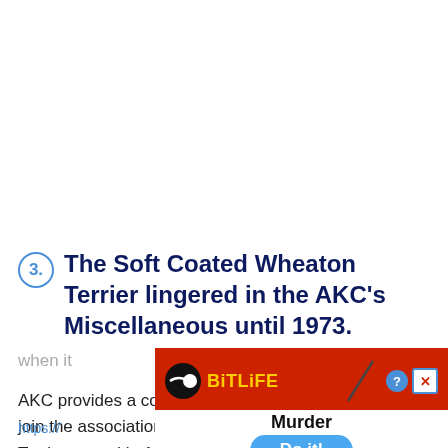3. The Soft Coated Wheaton Terrier lingered in the AKC's Miscellaneous until 1973.
AKC provides a controlled pathway for rare breeds to join the association's ranks. The Soft Coated Wheaton Terrier stayed in AKC's Miscellaneous Class until October 1973 when it
https://
[Figure (other): Advertisement banner for BitLife mobile game showing red background with yellow BitLife logo, a murder-themed game advertisement with 'Murder Do it!' call to action button, and close/help buttons]